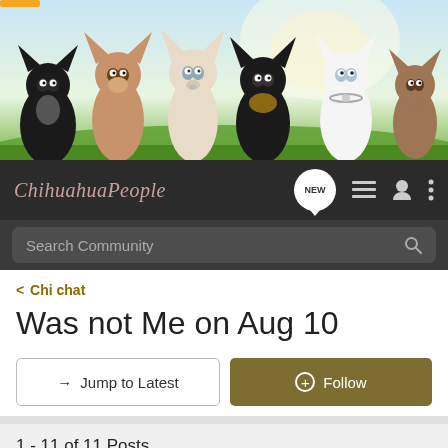[Figure (photo): Banner photo showing six Chihuahua dogs of various colors (black, tan, white, black-and-tan, white, and brown) posed together on a green outdoor background]
ChihuahuaPeople — navigation bar with logo, NEW button, list icon, user icon, and menu icon
Search Community
< Chi chat
Was not Me on Aug 10
→ Jump to Latest
+ Follow
1 - 11 of 11 Posts
kiwi love · Registered
Joined Jun 30, 2004 · 1,691 Posts